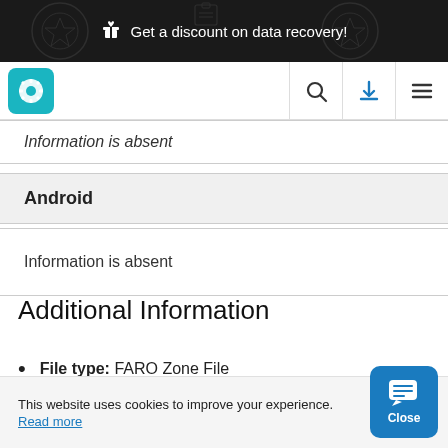🎁 Get a discount on data recovery!
[Figure (screenshot): Website navigation bar with teal gear logo, search icon, blue download icon, and hamburger menu]
Information is absent
Android
Information is absent
Additional Information
File type: FARO Zone File
This website uses cookies to improve your experience. Read more